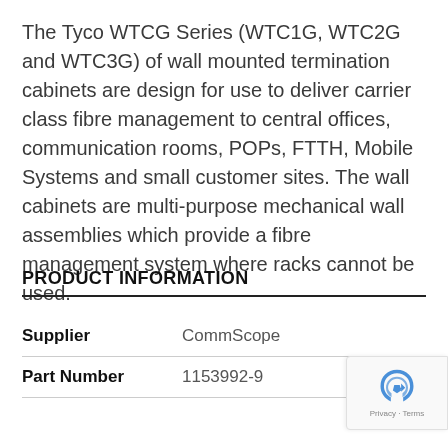The Tyco WTCG Series (WTC1G, WTC2G and WTC3G) of wall mounted termination cabinets are design for use to deliver carrier class fibre management to central offices, communication rooms, POPs, FTTH, Mobile Systems and small customer sites. The wall cabinets are multi-purpose mechanical wall assemblies which provide a fibre management system where racks cannot be used.
PRODUCT INFORMATION
|  |  |
| --- | --- |
| Supplier | CommScope |
| Part Number | 1153992-9 |